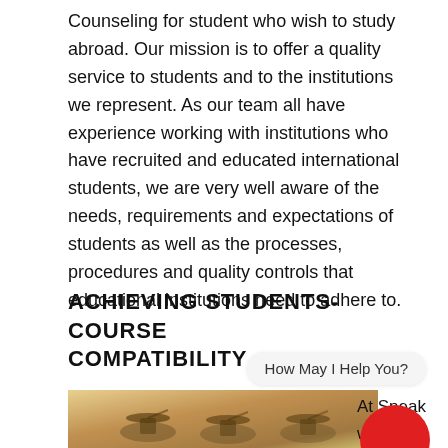Counseling for student who wish to study abroad. Our mission is to offer a quality service to students and to the institutions we represent. As our team all have experience working with institutions who have recruited and educated international students, we are very well aware of the needs, requirements and expectations of students as well as the processes, procedures and quality controls that educational institutions need to adhere to.
ACHIEVING STUDENTS-COURSE COMPATIBILITY
How May I Help You?
[Figure (photo): Photo of graduation ceremony with students in caps and gowns, warm golden-toned background]
At Speak we Ove...